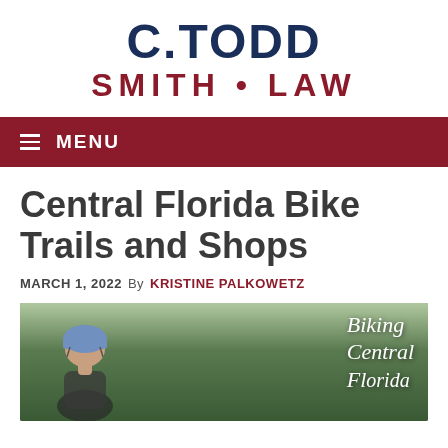[Figure (logo): C. Todd Smith Law logo — 'C.TODD' in large dark navy bold text above 'SMITH • LAW' in dark red bold text, centered at top of page]
≡ MENU
Central Florida Bike Trails and Shops
MARCH 1, 2022  By  KRISTINE PALKOWETZ
[Figure (photo): Photo of a person in a bicycle helmet with green trees in background; overlaid cursive white text reads 'Biking Central Florida']